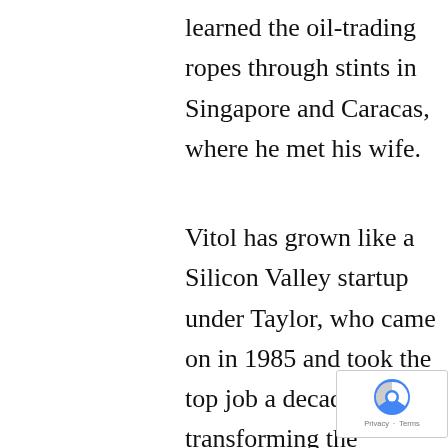learned the oil-trading ropes through stints in Singapore and Caracas, where he met his wife.
Vitol has grown like a Silicon Valley startup under Taylor, who came on in 1985 and took the top job a decade later, transforming the company into one of the world’s top traders as oil demand surged in China and other emerging markets. During his time as CEO, Vitol has increased its equity value by 3,500 percent, from $278 million in 1996 to almost $10 billion last year. Over the same period